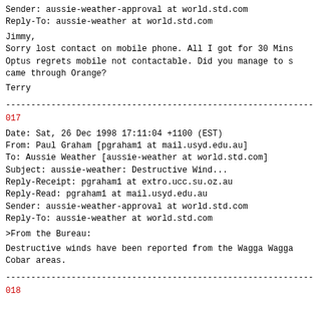Sender: aussie-weather-approval at world.std.com
Reply-To: aussie-weather at world.std.com
Jimmy,
Sorry lost contact on mobile phone. All I got for 30 Mins
Optus regrets mobile not contactable. Did you manage to s
came through Orange?
Terry
-------------------------------------------------------------------------
017
Date: Sat, 26 Dec 1998 17:11:04 +1100 (EST)
From: Paul Graham [pgraham1 at mail.usyd.edu.au]
To: Aussie Weather [aussie-weather at world.std.com]
Subject: aussie-weather: Destructive Wind...
Reply-Receipt: pgraham1 at extro.ucc.su.oz.au
Reply-Read: pgraham1 at mail.usyd.edu.au
Sender: aussie-weather-approval at world.std.com
Reply-To: aussie-weather at world.std.com
>From the Bureau:
Destructive winds have been reported from the Wagga Wagga
Cobar areas.
-------------------------------------------------------------------------
018